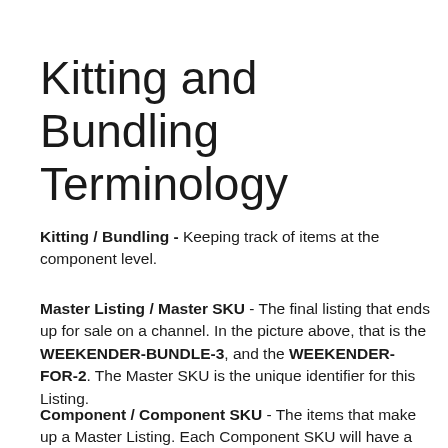Kitting and Bundling Terminology
Kitting / Bundling - Keeping track of items at the component level.
Master Listing / Master SKU - The final listing that ends up for sale on a channel. In the picture above, that is the WEEKENDER-BUNDLE-3, and the WEEKENDER-FOR-2. The Master SKU is the unique identifier for this Listing.
Component / Component SKU - The items that make up a Master Listing. Each Component SKU will have a quantity that is tracked independently.